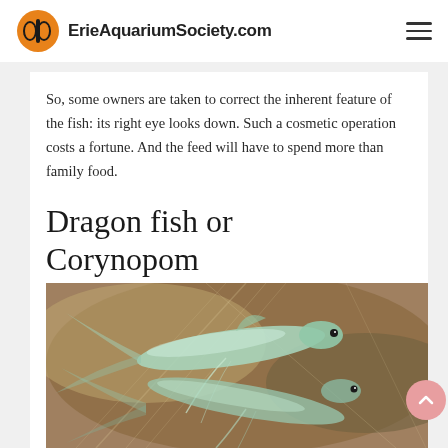ErieAquariumSociety.com
So, some owners are taken to correct the inherent feature of the fish: its right eye looks down. Such a cosmetic operation costs a fortune. And the feed will have to spend more than family food.
Dragon fish or Corynopom
[Figure (photo): Illustration of Dragon fish (Corynopom), showing a slender pale blue-green fish with long flowing fins against a blurred brown and grey background.]